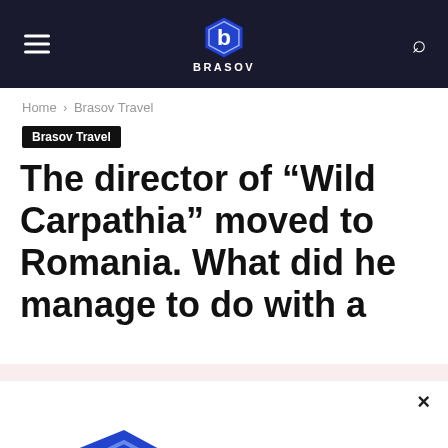BRASOV
Home › Brasov Travel
Brasov Travel
The director of “Wild Carpathia” moved to Romania. What did he manage to do with a
[Figure (logo): BRASOV hexagon logo with stylized letter b, blue and dark blue colors, with BRASOV text below in bold blue]
×